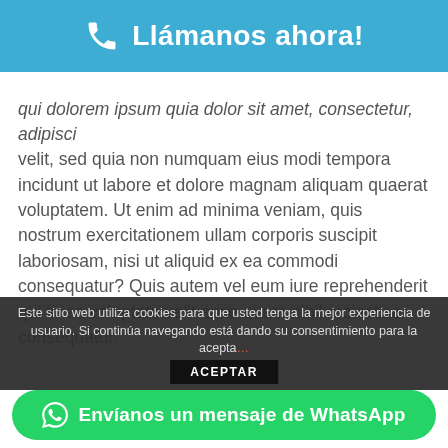Llámanos ahora!
qui dolorem ipsum quia dolor sit amet, consectetur, adipisci velit, sed quia non numquam eius modi tempora incidunt ut labore et dolore magnam aliquam quaerat voluptatem. Ut enim ad minima veniam, quis nostrum exercitationem ullam corporis suscipit laboriosam, nisi ut aliquid ex ea commodi consequatur? Quis autem vel eum iure reprehenderit qui in ea voluptate velit esse quam nihil molestiae consequatur.
H6 Remould
Nemo enim ipsam voluptatem quia voluptas sit aspernatur aut odit aut fugit, sed quia consequuntur magni dolores eos qui ratione voluptatem sequi nesciunt. Neque porro quisquam est, qui dolorem ipsum quia dolor sit amet, consectetur, adipisci
Este sitio web utiliza cookies para que usted tenga la mejor experiencia de usuario. Si continúa navegando está dando su consentimiento para la acepta
Envíanos un mensaje de WhatsApp
ACEPTAR